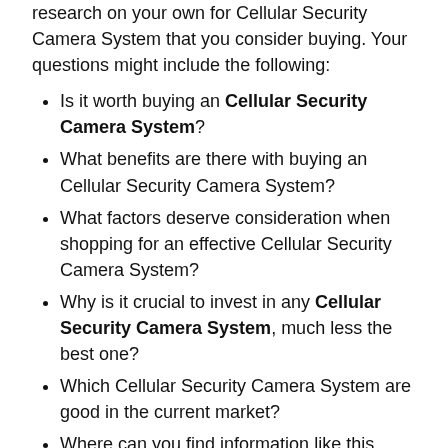research on your own for Cellular Security Camera System that you consider buying. Your questions might include the following:
Is it worth buying an Cellular Security Camera System?
What benefits are there with buying an Cellular Security Camera System?
What factors deserve consideration when shopping for an effective Cellular Security Camera System?
Why is it crucial to invest in any Cellular Security Camera System, much less the best one?
Which Cellular Security Camera System are good in the current market?
Where can you find information like this about Cellular Security Camera System?
We're convinced that you likely have far more questions than just these regarding Cellular Security Camera System, and the only real way to satisfy your need for knowledge is